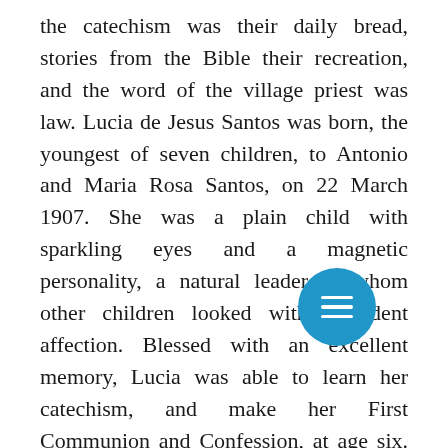the catechism was their daily bread, stories from the Bible their recreation, and the word of the village priest was law. Lucia de Jesus Santos was born, the youngest of seven children, to Antonio and Maria Rosa Santos, on 22 March 1907. She was a plain child with sparkling eyes and a magnetic personality, a natural leader to whom other children looked with confident affection. Blessed with an excellent memory, Lucia was able to learn her catechism, and make her First Communion and Confession, at age six. She herself became a catechist at nine. Lucia would be the constant guide and companion to her first cousins, Francisco and Jacinta Marto, through the trials that accompanied the